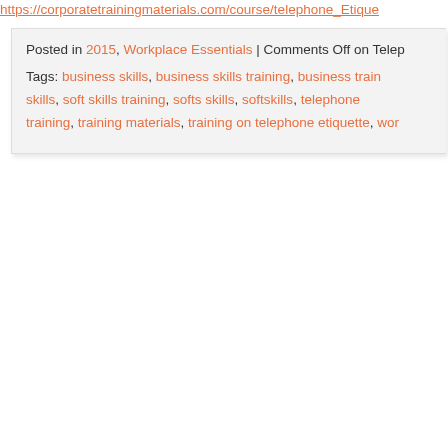https://corporatetrainingmaterials.com/course/telephone_Etique...
Posted in 2015, Workplace Essentials | Comments Off on Telep...
Tags: business skills, business skills training, business train... skills, soft skills training, softs skills, softskills, telephone... training, training materials, training on telephone etiquette, wor...